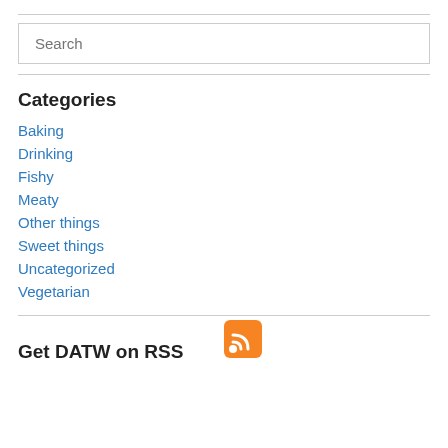Search
Categories
Baking
Drinking
Fishy
Meaty
Other things
Sweet things
Uncategorized
Vegetarian
Get DATW on RSS
[Figure (logo): RSS feed icon, orange square with white wifi-style signal waves]